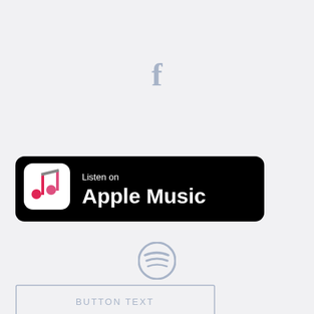[Figure (logo): Facebook 'f' logo icon in muted blue/gray color, centered near top of page]
[Figure (logo): Apple Music 'Listen on Apple Music' badge/button with black rounded rectangle background, music note icon on left, white text reading 'Listen on Apple Music']
[Figure (logo): Spotify circular logo icon in muted blue/gray color, centered in lower-middle area]
[Figure (other): Outlined rectangular button with text 'BUTTON TEXT' in muted blue/gray color, positioned at bottom-left]